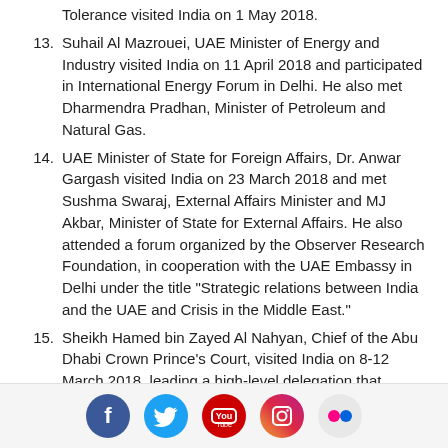Tolerance visited India on 1 May 2018.
13. Suhail Al Mazrouei, UAE Minister of Energy and Industry visited India on 11 April 2018 and participated in International Energy Forum in Delhi. He also met Dharmendra Pradhan, Minister of Petroleum and Natural Gas.
14. UAE Minister of State for Foreign Affairs, Dr. Anwar Gargash visited India on 23 March 2018 and met Sushma Swaraj, External Affairs Minister and MJ Akbar, Minister of State for External Affairs. He also attended a forum organized by the Observer Research Foundation, in cooperation with the UAE Embassy in Delhi under the title "Strategic relations between India and the UAE and Crisis in the Middle East."
15. Sheikh Hamed bin Zayed Al Nahyan, Chief of the Abu Dhabi Crown Prince's Court, visited India on 8-12 March 2018, leading a high-level delegation that included Dr. Thani bin Ahmed Al-Zeyoudi, UAE Minister of Climate Change and Environment to the Founding Ceremony of the International Solar Alliance (ISA). Sheikh Hamed met
Social media icons: Facebook, Twitter, YouTube, Instagram, Flickr